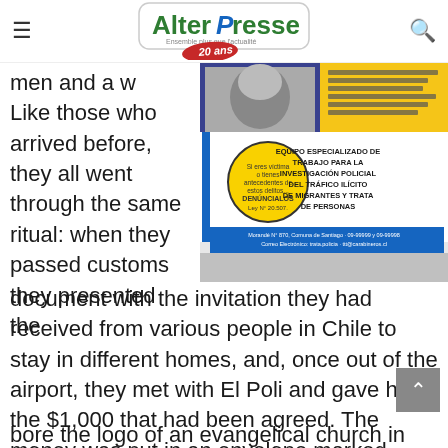AlterPresse
men and a w
Like those who arrived before, they all went through the same ritual: when they passed customs they presented the
[Figure (photo): Photo of a poster about EQUIPO ESPECIALIZADO DE TRABAJO PARA LA INVESTIGACIÓN POLICIAL DEL TRÁFICO ILÍCITO DE MIGRANTES Y TRATA DE PERSONAS, with a yellow circle and a face image at the top.]
document with the invitation they had received from various people in Chile to stay in different homes, and, once out of the airport, they met with El Poli and gave him the $1,000 that had been agreed. The money was put in an envelope marked "Tenth" and bore the logo of an evangelical church in the